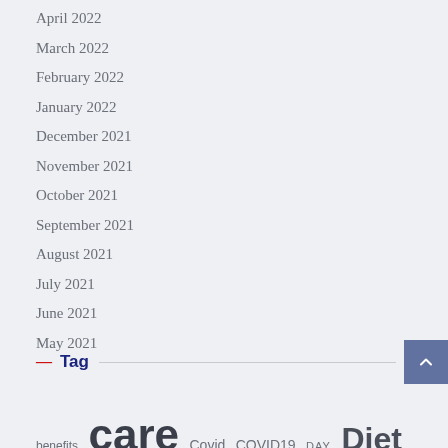April 2022
March 2022
February 2022
January 2022
December 2021
November 2021
October 2021
September 2021
August 2021
July 2021
June 2021
May 2021
Tag
benefits care Covid COVID19 DAY Diet exercise Experts Fitness Food Health Healthcare Health